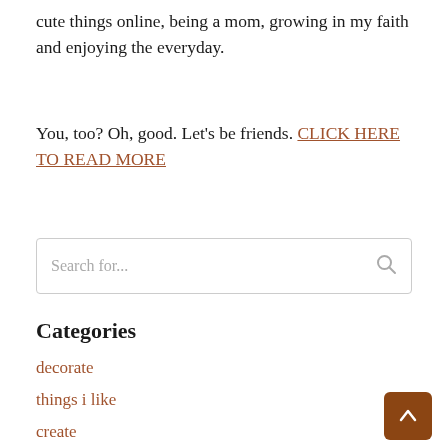cute things online, being a mom, growing in my faith and enjoying the everyday.
You, too? Oh, good. Let's be friends. CLICK HERE TO READ MORE
[Figure (other): Search input field with placeholder text 'Search for...' and a search icon on the right]
Categories
decorate
things i like
create